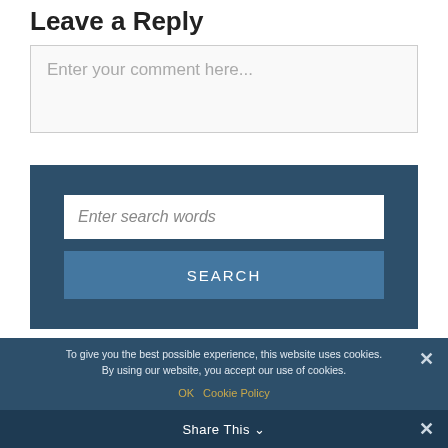Leave a Reply
Enter your comment here...
Enter search words
SEARCH
To give you the best possible experience, this website uses cookies. By using our website, you accept our use of cookies.
OK  Cookie Policy
Share This